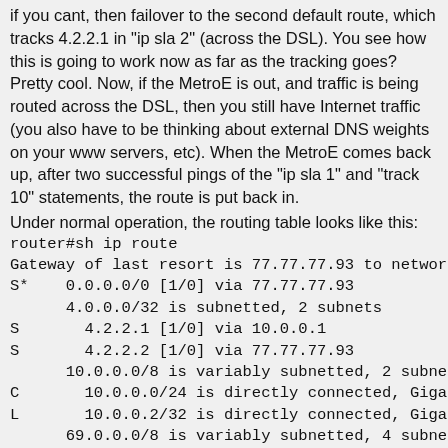if you cant, then failover to the second default route, which tracks 4.2.2.1 in "ip sla 2" (across the DSL).  You see how this is going to work now as far as the tracking goes?  Pretty cool.  Now, if the MetroE is out, and traffic is being routed across the DSL, then you still have Internet traffic (you also have to be thinking about external DNS weights on your www servers, etc).  When the MetroE comes back up, after two successful pings of the "ip sla 1" and "track 10" statements, the route is put back in.
Under normal operation, the routing table looks like this:
router#sh ip route
Gateway of last resort is 77.77.77.93 to network 0.0.0.0
S*    0.0.0.0/0 [1/0] via 77.77.77.93
      4.0.0.0/32 is subnetted, 2 subnets
S       4.2.2.1 [1/0] via 10.0.0.1
S       4.2.2.2 [1/0] via 77.77.77.93
      10.0.0.0/8 is variably subnetted, 2 subnets, 2 masks
C       10.0.0.0/24 is directly connected, GigabitEthernet0/2
L       10.0.0.2/32 is directly connected, GigabitEthernet0/2
      69.0.0.0/8 is variably subnetted, 4 subnets, 3 masks
C       77.77.77.92/30 is directly connected,
GigabitEthernet0/1